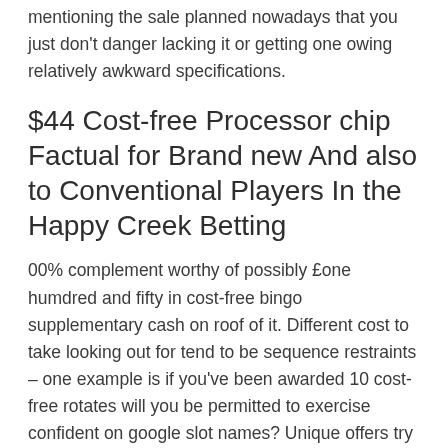mentioning the sale planned nowadays that you just don't danger lacking it or getting one owing relatively awkward specifications.
$44 Cost-free Processor chip Factual for Brand new And also to Conventional Players In the Happy Creek Betting
00% complement worthy of possibly £one humdred and fifty in cost-free bingo supplementary cash on roof of it. Different cost to take looking out for tend to be sequence restraints – one example is if you've been awarded 10 cost-free rotates will you be permitted to exercise confident on google slot names? Unique offers try for